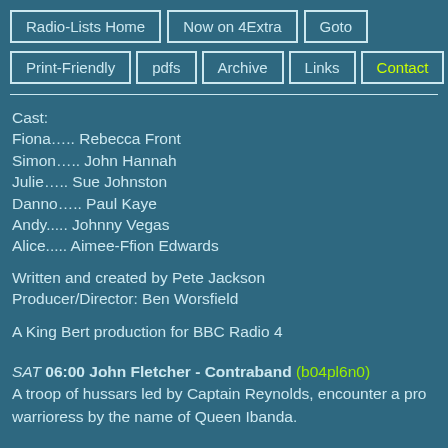Radio-Lists Home | Now on 4Extra | Goto | Print-Friendly | pdfs | Archive | Links | Contact
Cast:
Fiona….. Rebecca Front
Simon….. John Hannah
Julie….. Sue Johnston
Danno….. Paul Kaye
Andy..... Johnny Vegas
Alice..... Aimee-Ffion Edwards
Written and created by Pete Jackson
Producer/Director: Ben Worsfield
A King Bert production for BBC Radio 4
SAT 06:00 John Fletcher - Contraband (b04pl6n0)
A troop of hussars led by Captain Reynolds, encounter a pro… warrioress by the name of Queen Ibanda.